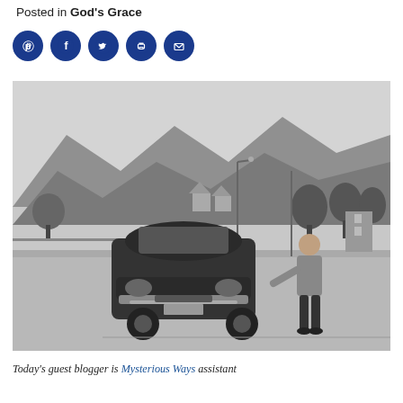Posted in God's Grace
[Figure (other): Five blue circular social sharing icons: Pinterest, Facebook, Twitter, Print, Email]
[Figure (photo): Black and white vintage photograph of a young man standing on a street next to an old 1950s-era car, with mountains and trees visible in the background]
Today's guest blogger is Mysterious Ways assistant